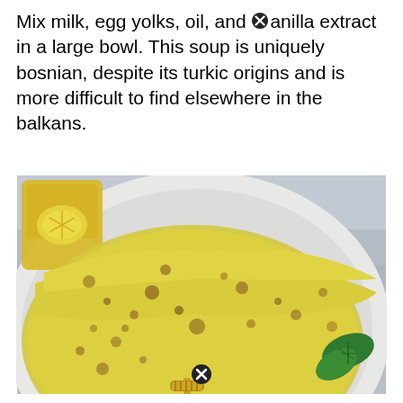Mix milk, egg yolks, oil, and vanilla extract in a large bowl. This soup is uniquely bosnian, despite its turkic origins and is more difficult to find elsewhere in the balkans.
[Figure (photo): Close-up photo of thin yellow crepes/pancakes folded on a white plate, with a glass of oil/lemon in the background and a honey dipper at the bottom, garnished with a green basil leaf. Two circular close/X button icons overlay the image.]